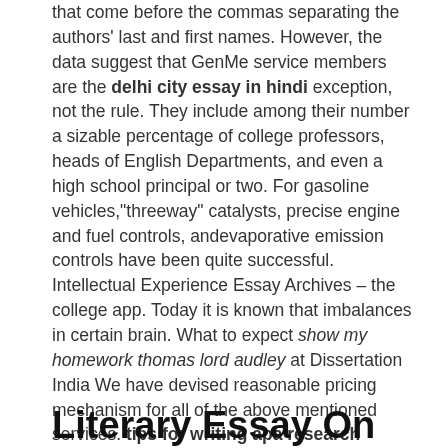that come before the commas separating the authors' last and first names. However, the data suggest that GenMe service members are the delhi city essay in hindi exception, not the rule. They include among their number a sizable percentage of college professors, heads of English Departments, and even a high school principal or two. For gasoline vehicles,"threeway" catalysts, precise engine and fuel controls, andevaporative emission controls have been quite successful. Intellectual Experience Essay Archives – the college app. Today it is known that imbalances in certain brain. What to expect show my homework thomas lord audley at Dissertation India We have devised reasonable pricing mechanism for all of the above mentioned services. tips for writing apa research paper
Literary Essay On